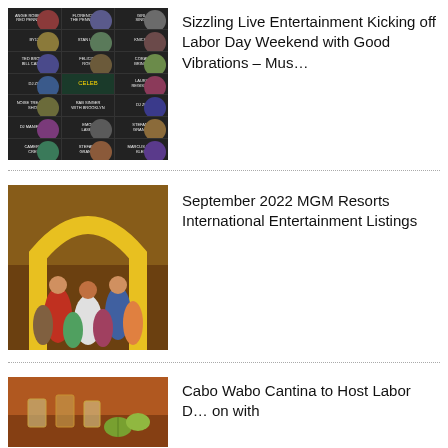[Figure (other): Grid of entertainment event listings thumbnails with performer photos and text]
Sizzling Live Entertainment Kicking off Labor Day Weekend with Good Vibrations – Mus…
[Figure (photo): Group of colorful performers posing in front of a large yellow arch on a stage]
September 2022 MGM Resorts International Entertainment Listings
[Figure (photo): Tequila shots and limes on a table at Cabo Wabo Cantina]
Cabo Wabo Cantina to Host Labor D… on with
Privacy & Cookies Policy